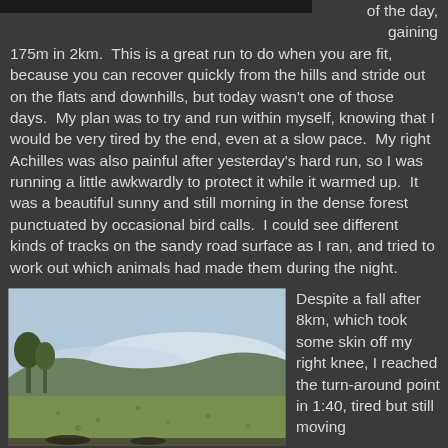[Figure (photo): Dark bar at top representing cropped image strip]
of the day, gaining 175m in 2km.  This is a great run to do when you are fit, because you can recover quickly from the hills and stride out on the flats and downhills, but today wasn't one of those days.  My plan was to try and run within myself, knowing that I would be very tired by the end, even at a slow pace.  My right Achilles was also painful after yesterday's hard run, so I was running a little awkwardly to protect it while it warmed up.  It was a beautiful sunny and still morning in the dense forest punctuated by occasional bird calls.  I could see different kinds of tracks on the sandy road surface as I ran, and tried to work out which animals had made them during the night.
[Figure (photo): Outdoor landscape photo showing open grassy field with trees and hills/mountains with low clouds in background, taken on a sunny day]
Despite a fall after 8km, which took some skin off my right knee, I reached the turn-around point in 1:40, tired but still moving